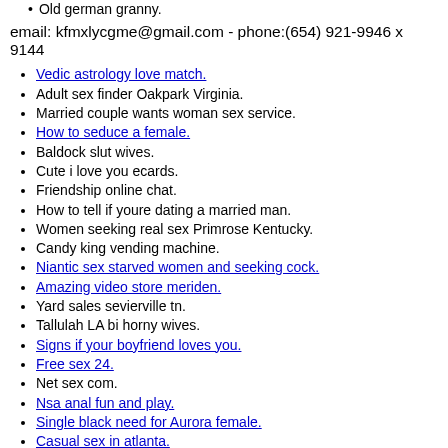Old german granny.
email: kfmxlycgme@gmail.com - phone:(654) 921-9946 x 9144
Vedic astrology love match.
Adult sex finder Oakpark Virginia.
Married couple wants woman sex service.
How to seduce a female.
Baldock slut wives.
Cute i love you ecards.
Friendship online chat.
How to tell if youre dating a married man.
Women seeking real sex Primrose Kentucky.
Candy king vending machine.
Niantic sex starved women and seeking cock.
Amazing video store meriden.
Yard sales sevierville tn.
Tallulah LA bi horny wives.
Signs if your boyfriend loves you.
Free sex 24.
Net sex com.
Nsa anal fun and play.
Single black need for Aurora female.
Casual sex in atlanta.
The piano teacher sex.
Brazil pussy dating.